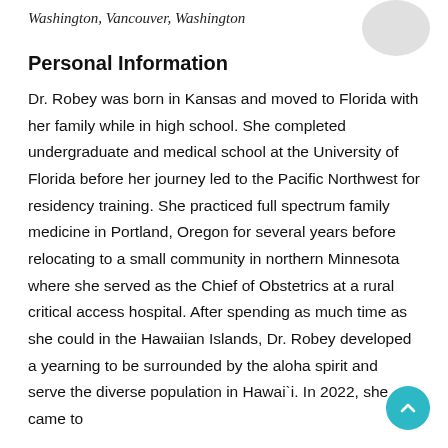Washington, Vancouver, Washington
Personal Information
Dr. Robey was born in Kansas and moved to Florida with her family while in high school. She completed undergraduate and medical school at the University of Florida before her journey led to the Pacific Northwest for residency training. She practiced full spectrum family medicine in Portland, Oregon for several years before relocating to a small community in northern Minnesota where she served as the Chief of Obstetrics at a rural critical access hospital. After spending as much time as she could in the Hawaiian Islands, Dr. Robey developed a yearning to be surrounded by the aloha spirit and serve the diverse population in Hawai`i. In 2022, she came to